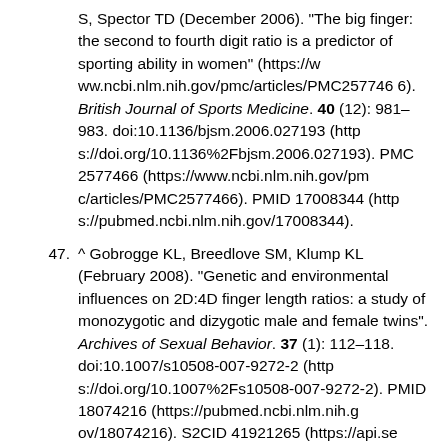S, Spector TD (December 2006). "The big finger: the second to fourth digit ratio is a predictor of sporting ability in women" (https://www.ncbi.nlm.nih.gov/pmc/articles/PMC2577466). British Journal of Sports Medicine. 40 (12): 981–983. doi:10.1136/bjsm.2006.027193 (https://doi.org/10.1136%2Fbjsm.2006.027193). PMC 2577466 (https://www.ncbi.nlm.nih.gov/pmc/articles/PMC2577466). PMID 17008344 (https://pubmed.ncbi.nlm.nih.gov/17008344).
47. ^ Gobrogge KL, Breedlove SM, Klump KL (February 2008). "Genetic and environmental influences on 2D:4D finger length ratios: a study of monozygotic and dizygotic male and female twins". Archives of Sexual Behavior. 37 (1): 112–118. doi:10.1007/s10508-007-9272-2 (https://doi.org/10.1007%2Fs10508-007-9272-2). PMID 18074216 (https://pubmed.ncbi.nlm.nih.gov/18074216). S2CID 41921265 (https://api.se